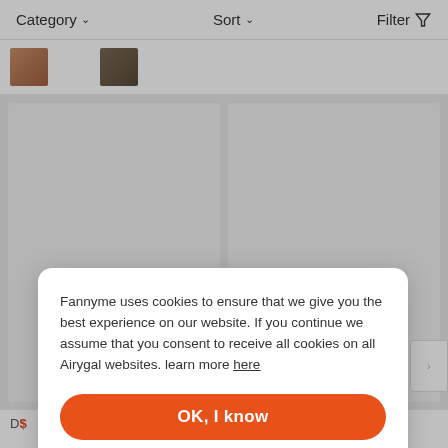Category ∨   Sort ∨   Filter
[Figure (screenshot): Two product thumbnail images partially visible at top of page]
[Figure (photo): Two large product cards (gray placeholder rectangles) in a 2-column product grid]
Fannyme uses cookies to ensure that we give you the best experience on our website. If you continue we assume that you consent to receive all cookies on all Airygal websites. learn more here
OK, I know